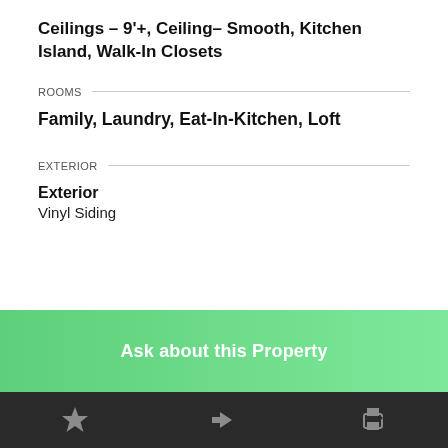Ceilings - 9'+, Ceiling- Smooth, Kitchen Island, Walk-In Closets
ROOMS
Family, Laundry, Eat-In-Kitchen, Loft
EXTERIOR
Exterior
Vinyl Siding
Ask about this Property